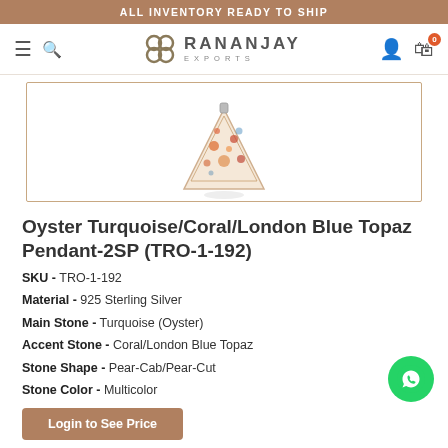ALL INVENTORY READY TO SHIP
[Figure (logo): Rananjay Exports logo with stylized icon and text]
[Figure (photo): Triangle-shaped Oyster Turquoise/Coral/London Blue Topaz pendant product image]
Oyster Turquoise/Coral/London Blue Topaz Pendant-2SP (TRO-1-192)
SKU - TRO-1-192
Material - 925 Sterling Silver
Main Stone - Turquoise (Oyster)
Accent Stone - Coral/London Blue Topaz
Stone Shape - Pear-Cab/Pear-Cut
Stone Color - Multicolor
Login to See Price